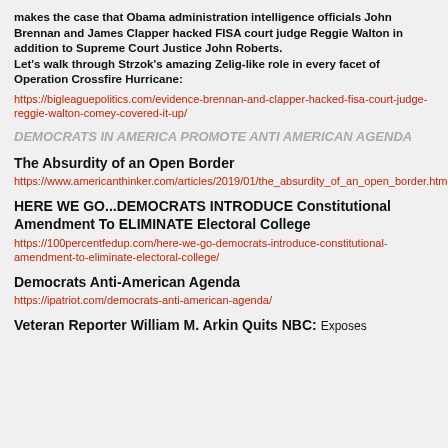makes the case that Obama administration intelligence officials John Brennan and James Clapper hacked FISA court judge Reggie Walton in addition to Supreme Court Justice John Roberts. Let's walk through Strzok's amazing Zelig-like role in every facet of Operation Crossfire Hurricane:
https://bigleaguepolitics.com/evidence-brennan-and-clapper-hacked-fisa-court-judge-reggie-walton-comey-covered-it-up/
DEMOCRATS IN AMERICA PROMOTE ANTI AMERICAN AGENDA
The Absurdity of an Open Border
https://www.americanthinker.com/articles/2019/01/the_absurdity_of_an_open_border.html
HERE WE GO...DEMOCRATS INTRODUCE Constitutional Amendment To ELIMINATE Electoral College
https://100percentfedup.com/here-we-go-democrats-introduce-constitutional-amendment-to-eliminate-electoral-college/
Democrats Anti-American Agenda
https://ipatriot.com/democrats-anti-american-agenda/
Veteran Reporter William M. Arkin Quits NBC: Exposes